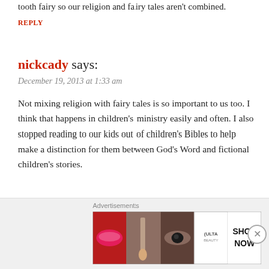tooth fairy so our religion and fairy tales aren't combined.
REPLY
nickcady says:
December 19, 2013 at 1:33 am
Not mixing religion with fairy tales is so important to us too. I think that happens in children's ministry easily and often. I also stopped reading to our kids out of children's Bibles to help make a distinction for them between God's Word and fictional children's stories.
REPLY
Advertisements
[Figure (illustration): Blue-purple gradient banner ad reading 'Simplified pricing for']
Advertisements
[Figure (illustration): Ulta Beauty advertisement banner showing makeup imagery including lips, brush, eyes, Ulta logo, and 'SHOP NOW' text]